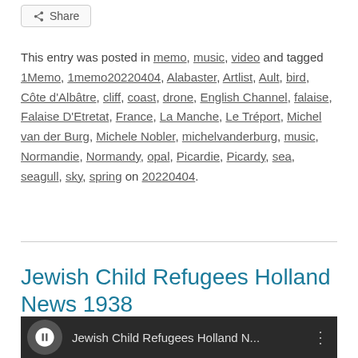[Figure (other): Share button with share icon]
This entry was posted in memo, music, video and tagged 1Memo, 1memo20220404, Alabaster, Artlist, Ault, bird, Côte d'Albâtre, cliff, coast, drone, English Channel, falaise, Falaise D'Etretat, France, La Manche, Le Tréport, Michel van der Burg, Michele Nobler, michelvanderburg, music, Normandie, Normandy, opal, Picardie, Picardy, sea, seagull, sky, spring on 20220404.
Jewish Child Refugees Holland News 1938
[Figure (screenshot): Video thumbnail showing Jewish Child Refugees Holland N... with memo logo circle and three dots menu icon]